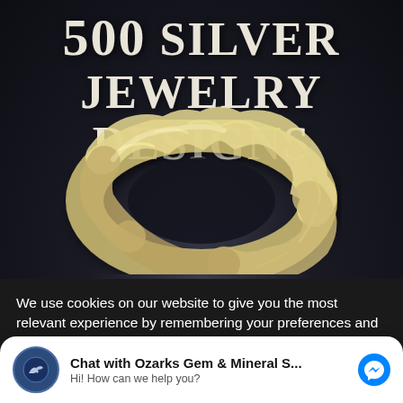[Figure (photo): Book cover of '500 Silver Jewelry Designs' showing a sculptured wavy silver ring/bracelet on a dark background]
500 SILVER JEWELRY DESIGNS
We use cookies on our website to give you the most relevant experience by remembering your preferences and repeat visits. By clicking “Accept”, you consent to the use of ALL the cookies.
Chat with Ozarks Gem & Mineral S... Hi! How can we help you?